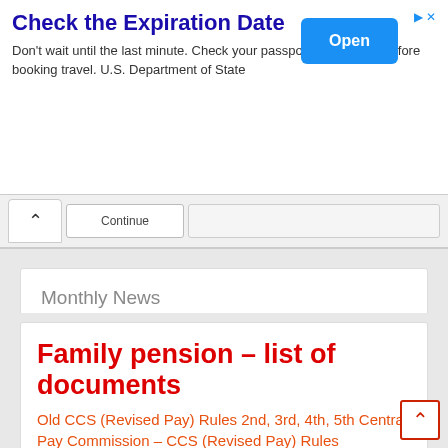[Figure (screenshot): Advertisement banner: 'Check the Expiration Date' with Open button, U.S. Department of State passport expiration reminder ad]
[Figure (screenshot): Browser navigation bar with up arrow, Continue button, and empty right section]
Monthly News
Select Month
Family pension – list of documents
Old CCS (Revised Pay) Rules 2nd, 3rd, 4th, 5th Central Pay Commission – CCS (Revised Pay) Rules